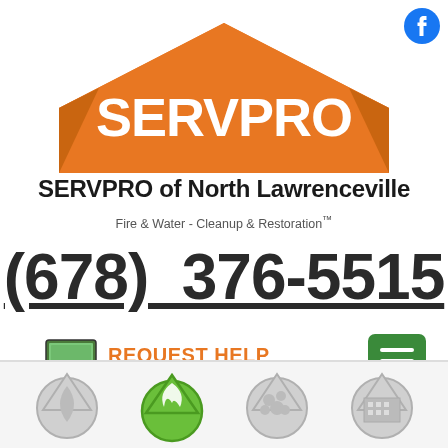[Figure (logo): Facebook circular logo icon, blue]
[Figure (logo): SERVPRO logo - orange house/roof shape with white SERVPRO text inside]
SERVPRO of North Lawrenceville
Fire & Water - Cleanup & Restoration™
(678) 376-5515
[Figure (infographic): REQUEST HELP ONLINE button with computer monitor icon and orange text]
[Figure (infographic): Green hamburger/menu button with three white horizontal lines]
[Figure (infographic): Four circular service icons at bottom: water droplet (gray), fire/flame (green active), mold (gray), building/commercial (gray)]